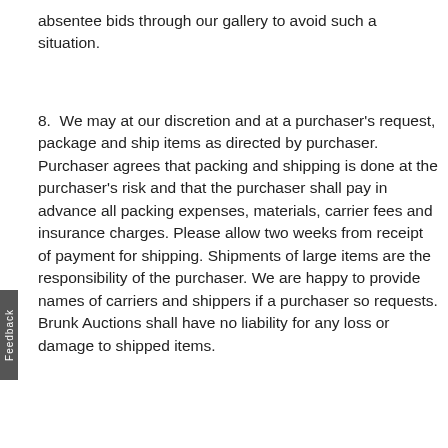absentee bids through our gallery to avoid such a situation.
8.  We may at our discretion and at a purchaser's request, package and ship items as directed by purchaser. Purchaser agrees that packing and shipping is done at the purchaser's risk and that the purchaser shall pay in advance all packing expenses, materials, carrier fees and insurance charges. Please allow two weeks from receipt of payment for shipping. Shipments of large items are the responsibility of the purchaser. We are happy to provide names of carriers and shippers if a purchaser so requests. Brunk Auctions shall have no liability for any loss or damage to shipped items.